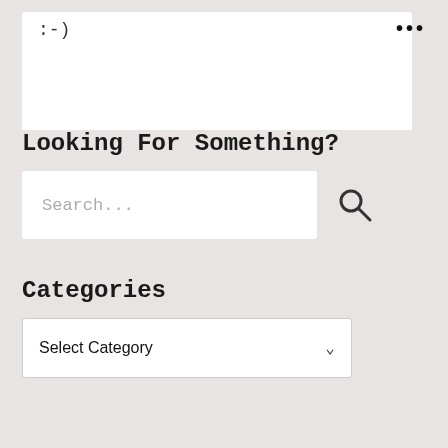:-)
...
Looking For Something?
Search...
Categories
Select Category